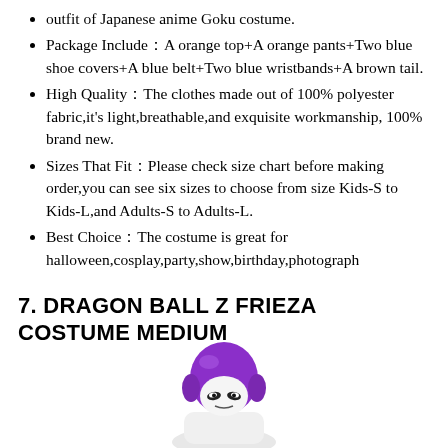outfit of Japanese anime Goku costume.
Package Include：A orange top+A orange pants+Two blue shoe covers+A blue belt+Two blue wristbands+A brown tail.
High Quality：The clothes made out of 100% polyester fabric,it's light,breathable,and exquisite workmanship, 100% brand new.
Sizes That Fit：Please check size chart before making order,you can see six sizes to choose from size Kids-S to Kids-L,and Adults-S to Adults-L.
Best Choice：The costume is great for halloween,cosplay,party,show,birthday,photograph
7. DRAGON BALL Z FRIEZA COSTUME MEDIUM
[Figure (photo): Photo of a Frieza costume mask/head piece with purple metallic helmet and white face with dark eyes, partially visible at bottom of page.]